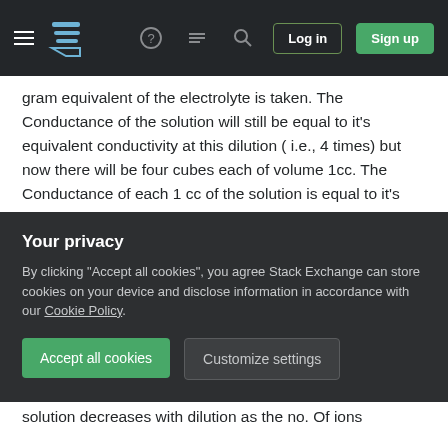[Figure (screenshot): Website navigation bar with hamburger menu, Stack Exchange logo, icons for help, chat, search, and Log in / Sign up buttons on dark background]
gram equivalent of the electrolyte is taken. The Conductance of the solution will still be equal to it's equivalent conductivity at this dilution ( i.e., 4 times) but now there will be four cubes each of volume 1cc. The Conductance of each 1 cc of the solution is equal to it's specific conductivity so that the total Conductance of the solution i.e., equivalent conductivity is four times the specific conductivity. So eq conductivity = specific conductivity × V cc of solution Similar is the case with Molar conductivity.
So Conductance vs Molar Conductance experiment
Your privacy
By clicking "Accept all cookies", you agree Stack Exchange can store cookies on your device and disclose information in accordance with our Cookie Policy.
Accept all cookies
Customize settings
solution decreases with dilution as the no. Of ions